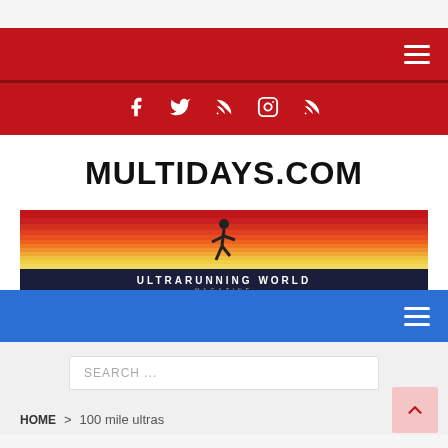MULTIDAYS.COM — Red navigation bar with hamburger menu and social icons (Facebook, Twitter, RSS, Instagram, RSS)
MULTIDAYS.COM
[Figure (illustration): Ultrarunning World magazine banner: horizontal stripes in red, orange, yellow sunset colors with a silhouette of a runner and text 'ULTRARUNNING WORLD MAGAZINE' on dark navy background at bottom]
Blue navigation bar with hamburger menu
SEARCH ...
HOME > 100 mile ultras